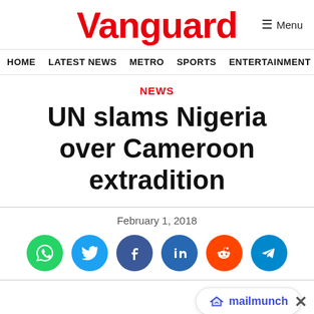Vanguard
HOME  LATEST NEWS  METRO  SPORTS  ENTERTAINMENT  VIDEOS
NEWS
UN slams Nigeria over Cameroon extradition
February 1, 2018
[Figure (infographic): Social sharing icons: WhatsApp (green), Twitter (blue), Facebook (dark blue), LinkedIn (blue), Reddit (orange), Telegram (light blue)]
[Figure (logo): Mailmunch widget logo and label in a rounded pill box, bottom right]